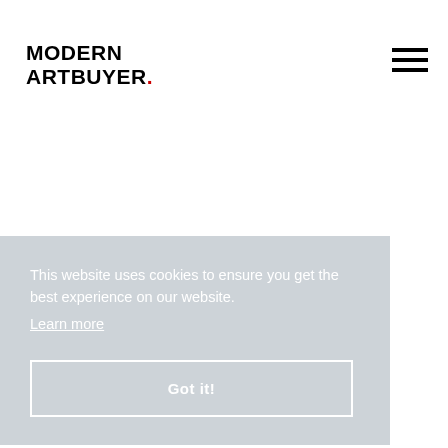MODERN ARTBUYER.
This website uses cookies to ensure you get the best experience on our website. Learn more
Got it!